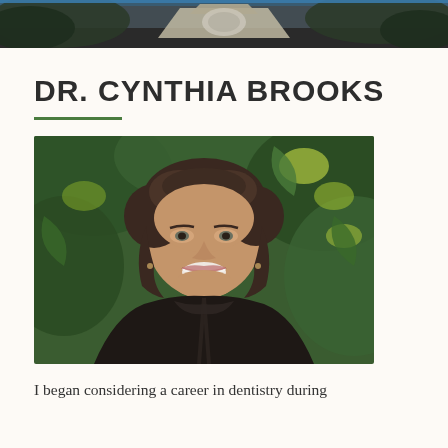[Figure (photo): Banner header image showing a dental office exterior with trees and a canopy structure]
DR. CYNTHIA BROOKS
[Figure (photo): Portrait photo of Dr. Cynthia Brooks, a smiling woman with short brown curly hair, wearing a dark jacket, standing in front of green leafy plants]
I began considering a career in dentistry during